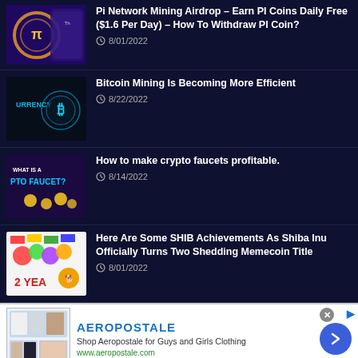Pi Network Mining Airdrop – Earn PI Coins Daily Free ($1.6 Per Day) – How To Withdraw PI Coin?
8/01/2022
Bitcoin Mining Is Becoming More Efficient
8/22/2022
How to make crypto faucets profitable.
8/14/2022
Here Are Some SHIB Achievements As Shiba Inu Officially Turns Two Shedding Memecoin Title
8/01/2022
[Figure (infographic): Aeropostale advertisement banner showing clothing items, brand name, tagline and URL]